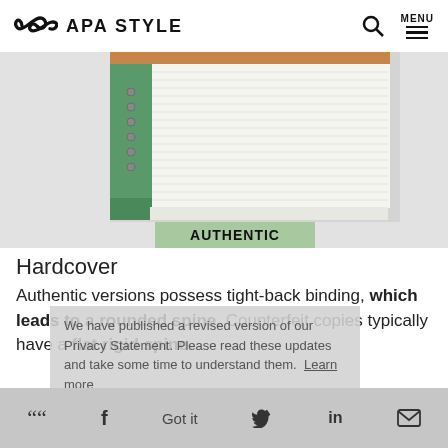APA STYLE
[Figure (photo): Close-up photo of book spine labeled AUTHENTIC, showing tight-back binding with rounded spine and green cover with white pages]
Hardcover
Authentic versions possess tight-back binding, which leads to a rounded spine. Counterfeit copies typically have a flat rigid spine.
We have published a revised version of our Privacy Statement. Please read these updates and take some time to understand them.  Learn more
Counterfeits often use incorrect headbands that are
" f Got it [twitter] in [email]